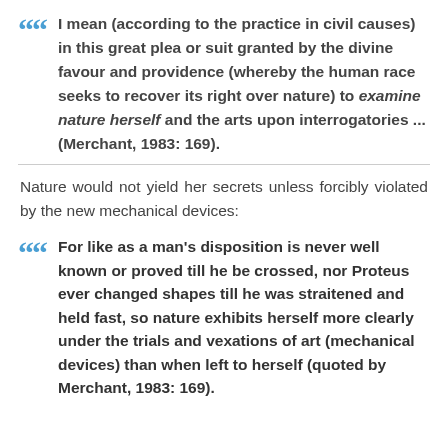I mean (according to the practice in civil causes) in this great plea or suit granted by the divine favour and providence (whereby the human race seeks to recover its right over nature) to examine nature herself and the arts upon interrogatories ... (Merchant, 1983: 169).
Nature would not yield her secrets unless forcibly violated by the new mechanical devices:
For like as a man's disposition is never well known or proved till he be crossed, nor Proteus ever changed shapes till he was straitened and held fast, so nature exhibits herself more clearly under the trials and vexations of art (mechanical devices) than when left to herself (quoted by Merchant, 1983: 169).